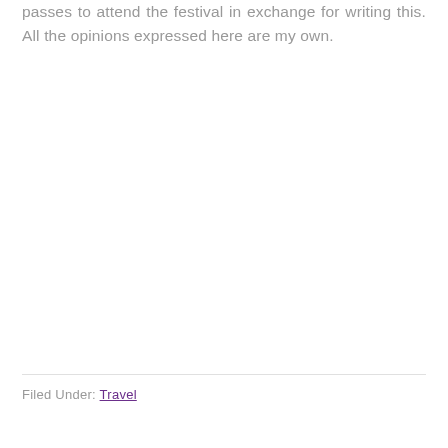passes to attend the festival in exchange for writing this. All the opinions expressed here are my own.
Filed Under: Travel